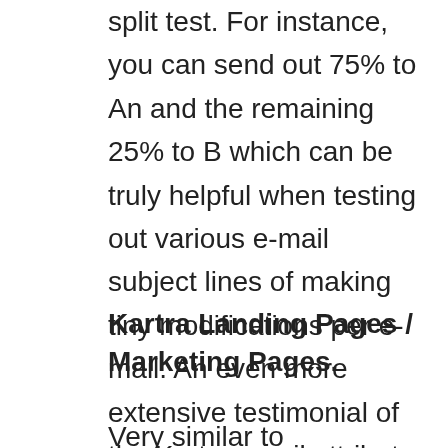split test. For instance, you can send out 75% to An and the remaining 25% to B which can be truly helpful when testing out various e-mail subject lines of making tiny modifications per e-mail. An even more extensive testimonial of the Kartra email attribute can be located here.
Kartra Landing Pages / Marketing Pages.
Very similar to Clickfunels the Kartra